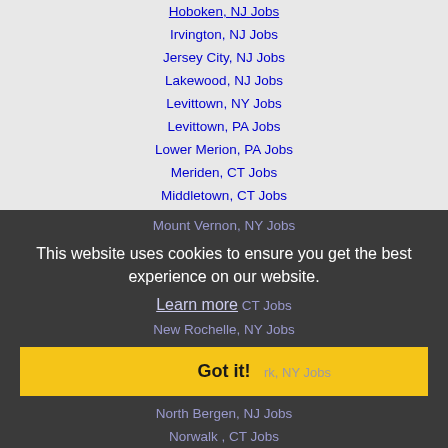Hoboken, NJ Jobs
Irvington, NJ Jobs
Jersey City, NJ Jobs
Lakewood, NJ Jobs
Levittown, NY Jobs
Levittown, PA Jobs
Lower Merion, PA Jobs
Meriden, CT Jobs
Middletown, CT Jobs
Milford, CT Jobs
Mount Vernon, NY Jobs
This website uses cookies to ensure you get the best experience on our website.
Learn more
Naugatuck, CT Jobs
New Rochelle, NY Jobs
Newark, NY Jobs
North Bergen, NJ Jobs
Norwalk , CT Jobs